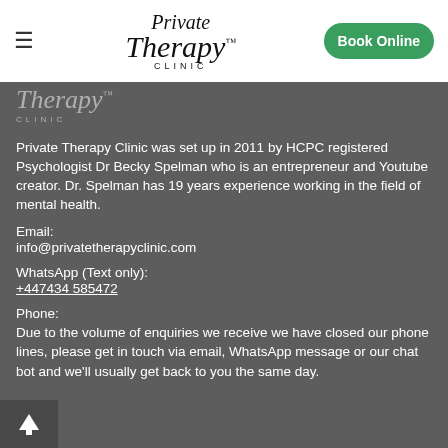Private Therapy Clinic™ — Book Online
[Figure (logo): Private Therapy Clinic script logo watermark on dark grey background]
Private Therapy Clinic was set up in 2011 by HCPC registered Psychologist Dr Becky Spelman who is an entrepreneur and Youtube creator. Dr. Spelman has 19 years experience working in the field of mental health.
Email:
info@privatetherapyclinic.com
WhatsApp (Text only):
+447434 585472
Phone:
Due to the volume of enquiries we receive we have closed our phone lines, please get in touch via email, WhatsApp message or our chat bot and we'll usually get back to you the same day.